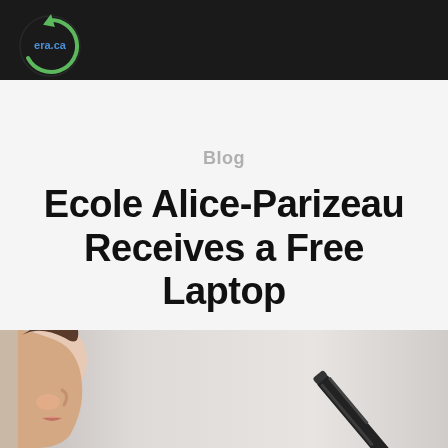[Figure (logo): ERA.ca recycling logo — green circular arrow icon with text 'era.ca' on dark header bar]
Blog
Ecole Alice-Parizeau Receives a Free Laptop
By electronic recycling association · June 21, 2022
[Figure (photo): Photo showing a child's face profile on the left and a pen/stylus on the right against a light grey background]